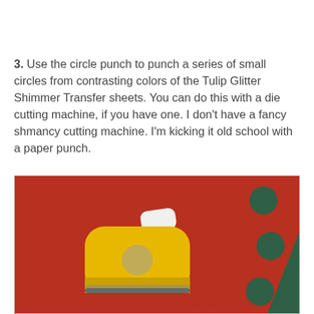3. Use the circle punch to punch a series of small circles from contrasting colors of the Tulip Glitter Shimmer Transfer sheets. You can do this with a die cutting machine, if you have one. I don't have a fancy shmancy cutting machine. I'm kicking it old school with a paper punch.
[Figure (photo): A yellow circle paper punch sitting on a red glitter sheet (Tulip Glitter Shimmer Transfer sheet) with several circular holes punched out. The background shows a teal/dark green surface visible through the punched holes and around the sheet. A small punched red glitter circle sits in the lower right area.]